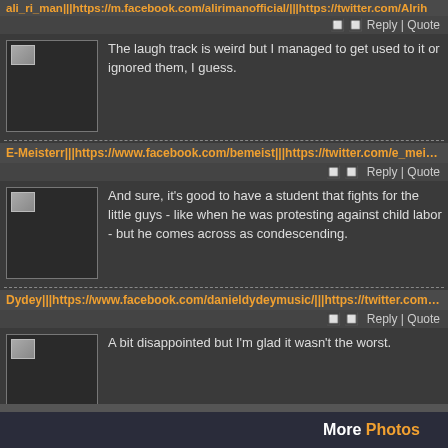ali_ri_man|||https://m.facebook.com/alirimanofficial/|||https://twitter.com/Alrih
Reply | Quote
The laugh track is weird but I managed to get used to it or ignored them, I guess.
E-Meisterr|||https://www.facebook.com/bemeist|||https://twitter.com/e_meisterr|||
Reply | Quote
And sure, it's good to have a student that fights for the little guys - like when he was protesting against child labor - but he comes across as condescending.
Dydey|||https://www.facebook.com/danieldydeymusic/|||https://twitter.com/dydey
Reply | Quote
A bit disappointed but I'm glad it wasn't the worst.
More Photos